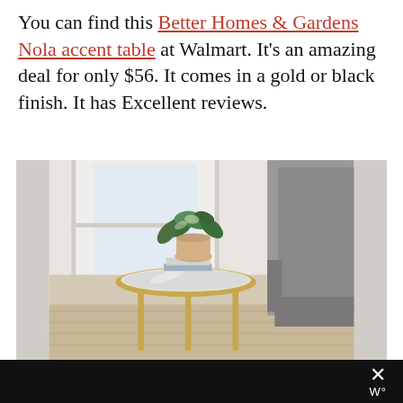You can find this Better Homes & Gardens Nola accent table at Walmart. It's an amazing deal for only $56. It comes in a gold or black finish. It has Excellent reviews.
[Figure (photo): A round gold accent table with a glass top holding stacked books and a potted plant, positioned next to a gray upholstered chair on a light wood floor near a window.]
× W°